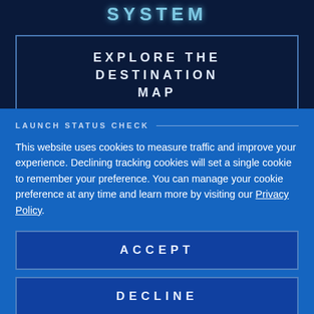SYSTEM
EXPLORE THE DESTINATION MAP
LAUNCH STATUS CHECK
This website uses cookies to measure traffic and improve your experience. Declining tracking cookies will set a single cookie to remember your preference. You can manage your cookie preference at any time and learn more by visiting our Privacy Policy.
ACCEPT
DECLINE